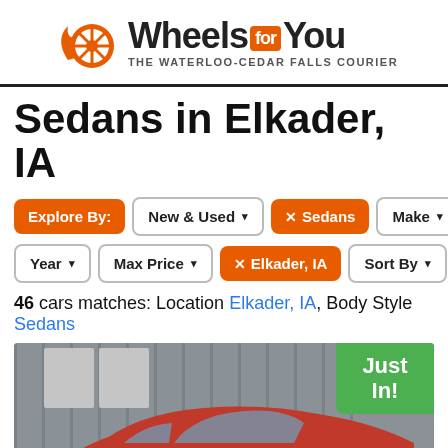Wheels FOR You — THE WATERLOO-CEDAR FALLS COURIER
Sedans in Elkader, IA
Explore By: | New & Used | ✕ Sedans | Make | Year | Max Price | ✕ Elkader, IA | Sort By
46 cars matches: Location Elkader, IA, Body Style Sedans
[Figure (photo): Red sedan parked in front of a metal-sided building, with a green 'Just In!' badge overlay and an orange 'Top' button overlay]